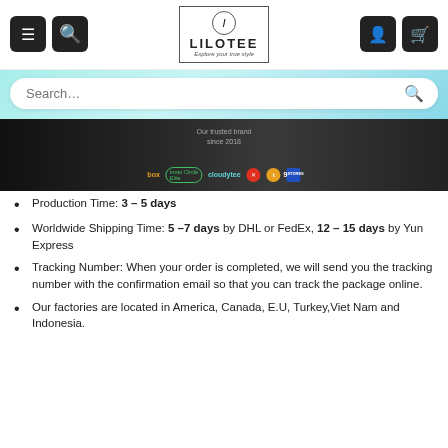Lilotee — Explore your true style
[Figure (screenshot): E-commerce website header with navigation icons (menu, search, account, cart), Lilotee logo in center, search bar below on cyan gradient background, and a dark banner showing partner logos including box, Cloudytee, and others with text 'Our trusted brand since 2018']
Production Time: 3 – 5 days
Worldwide Shipping Time: 5 –7 days by DHL or FedEx, 12 – 15 days by Yun Express
Tracking Number: When your order is completed, we will send you the tracking number with the confirmation email so that you can track the package online.
Our factories are located in America, Canada, E.U, Turkey,Viet Nam and Indonesia.